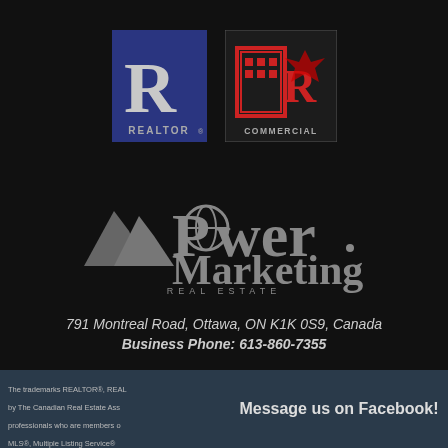[Figure (logo): REALTOR logo - blue background with large R and text REALTOR below]
[Figure (logo): COMMERCIAL logo - dark background with building/R icon and text COMMERCIAL below]
[Figure (logo): Power Marketing Real Estate logo in gray]
791 Montreal Road, Ottawa, ON K1K 0S9, Canada
Business Phone: 613-860-7355
The trademarks REALTOR®, REAL by The Canadian Real Estate Ass professionals who are members o MLS®, Multiple Listing Service®
Message us on Facebook!